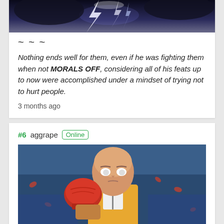[Figure (illustration): Top portion of an anime/lightning scene image, cropped at top of page]
~ ~ ~
Nothing ends well for them, even if he was fighting them when not MORALS OFF, considering all of his feats up to now were accomplished under a mindset of trying not to hurt people.
3 months ago
#6 aggrape Online
[Figure (illustration): Anime illustration of a bald muscular character (Saitama from One Punch Man) in a fighting pose with red glove raised, wearing yellow and white outfit, with a crowd and red particles in background]